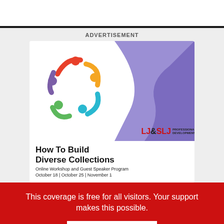ADVERTISEMENT
[Figure (illustration): LJ & SLJ Professional Development advertisement for 'How To Build Diverse Collections' Online Workshop and Guest Speaker Program. October 18 | October 25 | November 1. Features a circular logo with four diverse human figures in orange, green, teal and purple holding hands in a circle, set against a white circle and purple wave background. LJ&SLJ PROFESSIONAL DEVELOPMENT logo in red/black.]
This coverage is free for all visitors. Your support makes this possible.
SUBSCRIBE